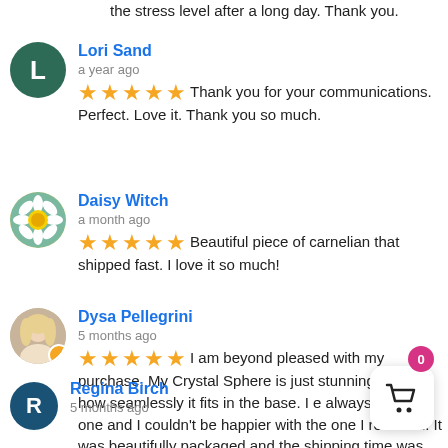the stress level after a long day. Thank you.
Lori Sand
a year ago
★★★★★ Thank you for your communications. Perfect. Love it. Thank you so much.
Daisy Witch
a month ago
★★★★★ Beautiful piece of carnelian that shipped fast. I love it so much!
Dysa Pellegrini
5 months ago
★★★★★ I am beyond pleased with my purchase. My Crystal Sphere is just stunning. I love how seamlessly it fits in the base. I e always wanted one and I couldn't be happier with the one I received. It was beautifully packaged and the shipping time was great. Thank you so much!
Regina Birch
5 months ago